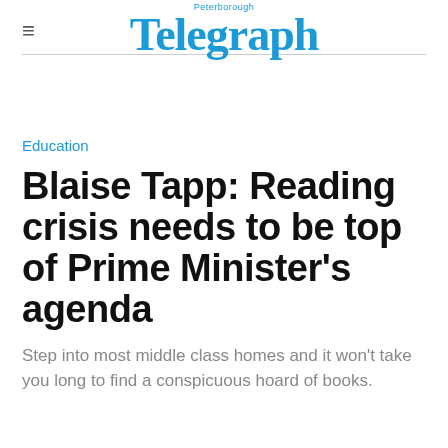Peterborough Telegraph
Education
Blaise Tapp: Reading crisis needs to be top of Prime Minister's agenda
Step into most middle class homes and it won't take you long to find a conspicuous hoard of books.